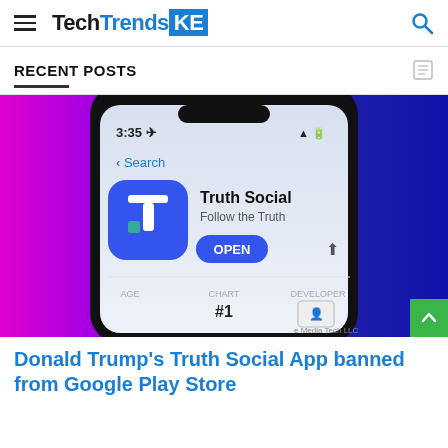TechTrendsKE
RECENT POSTS
[Figure (photo): Smartphone showing Truth Social app on the App Store with blue 'T' logo, 'OPEN' button, chart rank #1, and developer info against a purple/magenta background]
Donald Trump's Truth Social App banned from Google Play Store